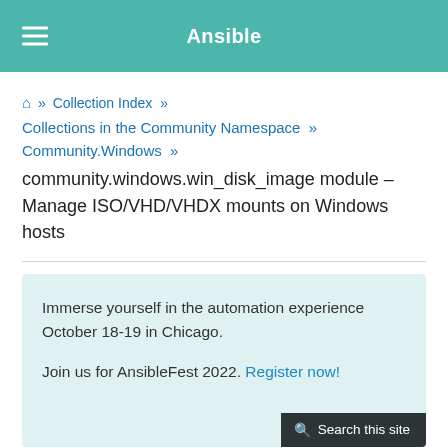Ansible
🏠 » Collection Index » Collections in the Community Namespace » Community.Windows » community.windows.win_disk_image module – Manage ISO/VHD/VHDX mounts on Windows hosts
Immerse yourself in the automation experience October 18-19 in Chicago.

Join us for AnsibleFest 2022. Register now!